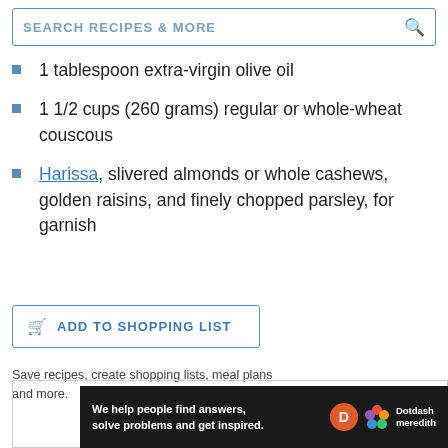SEARCH RECIPES & MORE
1 tablespoon extra-virgin olive oil
1 1/2 cups (260 grams) regular or whole-wheat couscous
Harissa, slivered almonds or whole cashews, golden raisins, and finely chopped parsley, for garnish
ADD TO SHOPPING LIST
Save recipes, create shopping lists, meal plans and more.
Ad
[Figure (other): Dotdash Meredith advertisement banner: 'We help people find answers, solve problems and get inspired.' with Dotdash Meredith logo]